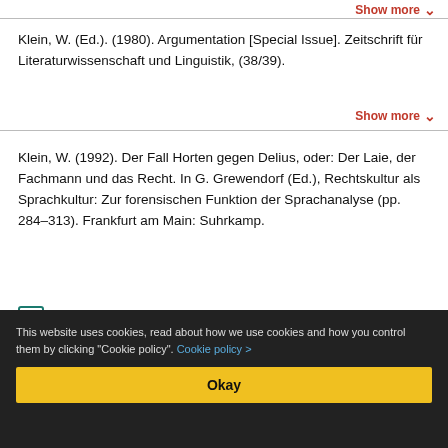Show more ▾
Klein, W. (Ed.). (1980). Argumentation [Special Issue]. Zeitschrift für Literaturwissenschaft und Linguistik, (38/39).
Show more ▾
Klein, W. (1992). Der Fall Horten gegen Delius, oder: Der Laie, der Fachmann und das Recht. In G. Grewendorf (Ed.), Rechtskultur als Sprachkultur: Zur forensischen Funktion der Sprachanalyse (pp. 284–313). Frankfurt am Main: Suhrkamp.
Full Text
Show more ▾
This website uses cookies, read about how we use cookies and how you control them by clicking "Cookie policy". Cookie policy >
Okay